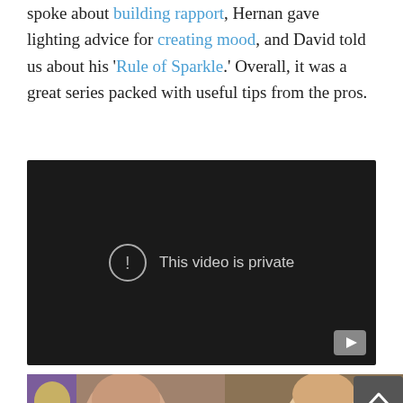spoke about building rapport, Hernan gave lighting advice for creating mood, and David told us about his 'Rule of Sparkle.' Overall, it was a great series packed with useful tips from the pros.
[Figure (screenshot): Embedded video player showing 'This video is private' message on a dark background with a YouTube play button icon in the bottom right corner.]
[Figure (photo): Photo strip showing multiple people including a bald man, a tall man, a woman, and other individuals, with colorful artwork visible in the background.]